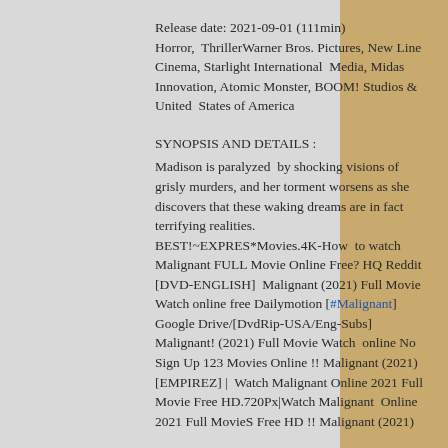Release date: 2021-09-01 (111min)
Horror,  ThrillerWarner Bros. Pictures, New Line Cinema, Starlight International  Media, Midas Innovation, Atomic Monster, BOOM! Studios & United  States of America
SYNOPSIS AND DETAILS :
Madison is paralyzed  by shocking visions of grisly murders, and her torment worsens as she discovers that these waking dreams are in fact terrifying realities.
BEST!~EXPRES*Movies.4K-How  to watch Malignant FULL Movie Online Free? HQ Reddit [DVD-ENGLISH]  Malignant (2021) Full Movie Watch online free Dailymotion [#Malignant] Google Drive/[DvdRip-USA/Eng-Subs] Malignant! (2021) Full Movie Watch  online No Sign Up 123 Movies Online !! Malignant (2021) [EMPIREZ] |  Watch Malignant Online 2021 Full Movie Free HD.720Px|Watch Malignant  Online 2021 Full MovieS Free HD !! Malignant (2021)